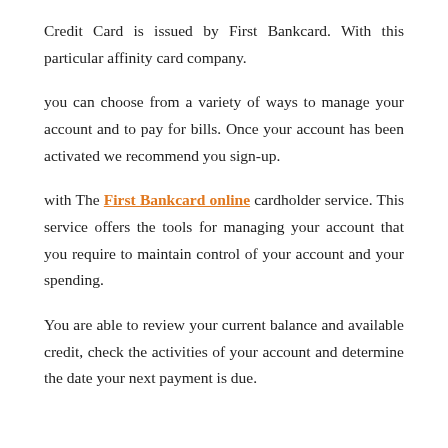Credit Card is issued by First Bankcard. With this particular affinity card company.
you can choose from a variety of ways to manage your account and to pay for bills. Once your account has been activated we recommend you sign-up.
with The First Bankcard online cardholder service. This service offers the tools for managing your account that you require to maintain control of your account and your spending.
You are able to review your current balance and available credit, check the activities of your account and determine the date your next payment is due.